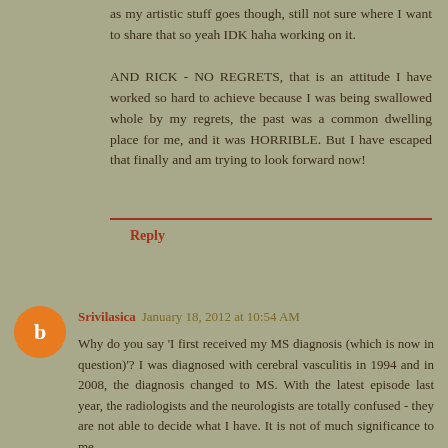as my artistic stuff goes though, still not sure where I want to share that so yeah IDK haha working on it.

AND RICK - NO REGRETS, that is an attitude I have worked so hard to achieve because I was being swallowed whole by my regrets, the past was a common dwelling place for me, and it was HORRIBLE. But I have escaped that finally and am trying to look forward now!
Reply
Srivilasica  January 18, 2012 at 10:54 AM
Why do you say 'I first received my MS diagnosis (which is now in question)'? I was diagnosed with cerebral vasculitis in 1994 and in 2008, the diagnosis changed to MS. With the latest episode last year, the radiologists and the neurologists are totally confused - they are not able to decide what I have. It is not of much significance to me